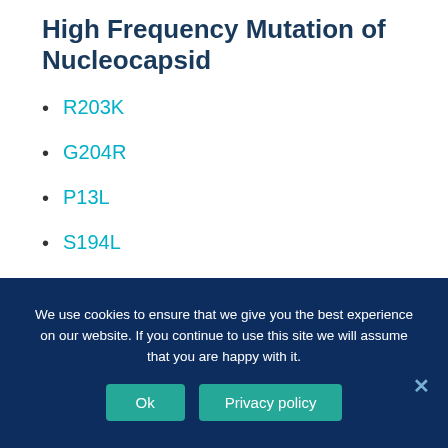High Frequency Mutation of Nucleocapsid
R203K
G204R
P13L
S194L
I292T
Conserved Domain of
We use cookies to ensure that we give you the best experience on our website. If you continue to use this site we will assume that you are happy with it.